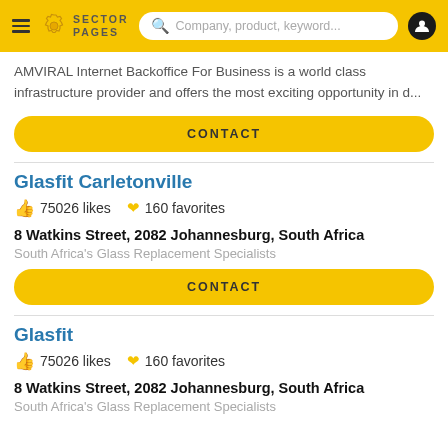Sector Pages — navigation header with logo and search bar
AMVIRAL Internet Backoffice For Business is a world class infrastructure provider and offers the most exciting opportunity in d...
CONTACT
Glasfit Carletonville
75026 likes  160 favorites
8 Watkins Street, 2082 Johannesburg, South Africa
South Africa's Glass Replacement Specialists
CONTACT
Glasfit
75026 likes  160 favorites
8 Watkins Street, 2082 Johannesburg, South Africa
South Africa's Glass Replacement Specialists